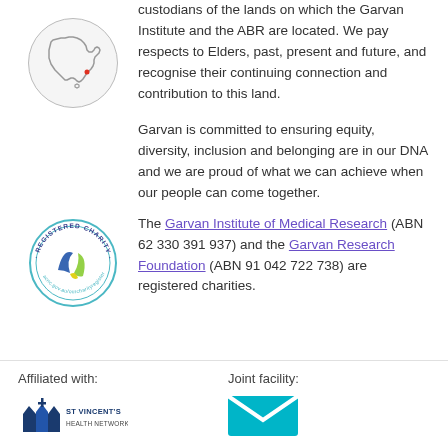[Figure (illustration): Circle outline with silhouette of Australia map and a small red dot marking a location]
custodians of the lands on which the Garvan Institute and the ABR are located. We pay respects to Elders, past, present and future, and recognise their continuing connection and contribution to this land.
Garvan is committed to ensuring equity, diversity, inclusion and belonging are in our DNA and we are proud of what we can achieve when our people can come together.
[Figure (logo): Registered Charity badge — circular seal with text 'REGISTERED CHARITY' around the border and a blue/green swoosh logo in center, with website text around bottom]
The Garvan Institute of Medical Research (ABN 62 330 391 937) and the Garvan Research Foundation (ABN 91 042 722 738) are registered charities.
Affiliated with:
Joint facility:
[Figure (logo): St Vincent's affiliated logo — blue cathedral/church icon with ST VINCENT'S text]
[Figure (logo): Joint facility logo — teal/cyan envelope or M-shape icon]